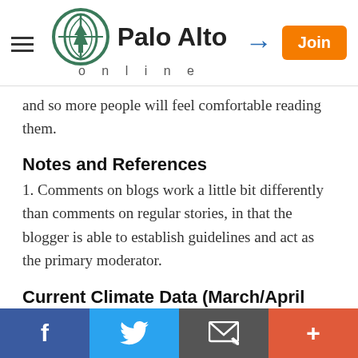Palo Alto online
and so more people will feel comfortable reading them.
Notes and References
1. Comments on blogs work a little bit differently than comments on regular stories, in that the blogger is able to establish guidelines and act as the primary moderator.
Current Climate Data (March/April 2020)
Global impacts, US impacts, CO2 metric, Climate dashboard (updated annually)
Comment Guidelines
I hope that your contributions will be an important part of this blog. To keep the discussion productive, please
Facebook  Twitter  Email  +